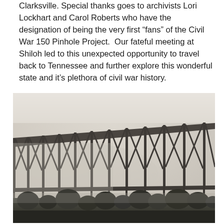Clarksville. Special thanks goes to archivists Lori Lockhart and Carol Roberts who have the designation of being the very first “fans” of the Civil War 150 Pinhole Project.  Our fateful meeting at Shiloh led to this unexpected opportunity to travel back to Tennessee and further explore this wonderful state and it’s plethora of civil war history.
[Figure (photo): A foggy atmospheric photograph of a large wooden railroad trestle bridge structure, silhouetted against a pale misty sky. Trees and vegetation are visible at the bottom of the image. The trestle features diagonal cross-bracing typical of historic railroad bridges.]